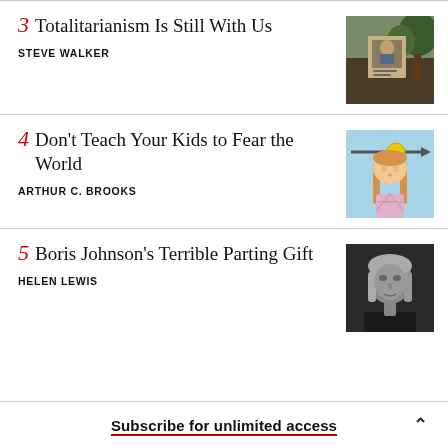3 Totalitarianism Is Still With Us — STEVE WALKER
[Figure (photo): Outdoor photo with a poster or mural, colorful scene with trees]
4 Don't Teach Your Kids to Fear the World — ARTHUR C. BROOKS
[Figure (illustration): Illustration of a girl with long hair on blue background with arrow]
5 Boris Johnson's Terrible Parting Gift — HELEN LEWIS
[Figure (photo): Black and white photo of a woman (Liz Truss)]
Subscribe for unlimited access